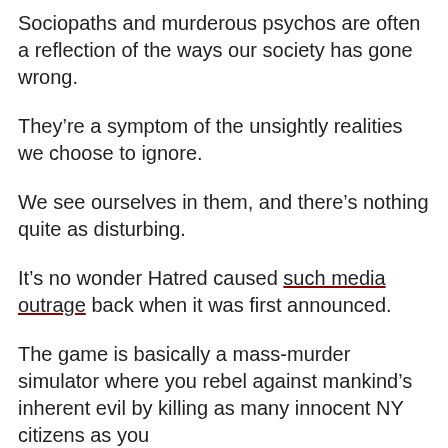Sociopaths and murderous psychos are often a reflection of the ways our society has gone wrong.
They're a symptom of the unsightly realities we choose to ignore.
We see ourselves in them, and there's nothing quite as disturbing.
It's no wonder Hatred caused such media outrage back when it was first announced.
The game is basically a mass-murder simulator where you rebel against mankind's inherent evil by killing as many innocent NY citizens as you can.